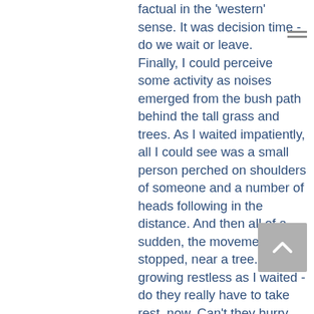factual in the 'western' sense. It was decision time - do we wait or leave. Finally, I could perceive some activity as noises emerged from the bush path behind the tall grass and trees. As I waited impatiently, all I could see was a small person perched on shoulders of someone and a number of heads following in the distance. And then all of a sudden, the movement stopped, near a tree. I was growing restless as I waited - do they really have to take rest, now. Can't they hurry up. Don't they know we have a schedule. All these thoughts were bursting onto my mind - my mind so filled of me and my schedule.
Finally to my relief, the procession started moving. And I finally got a